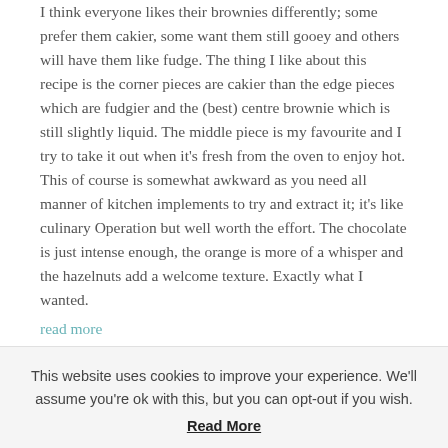I think everyone likes their brownies differently; some prefer them cakier, some want them still gooey and others will have them like fudge. The thing I like about this recipe is the corner pieces are cakier than the edge pieces which are fudgier and the (best) centre brownie which is still slightly liquid. The middle piece is my favourite and I try to take it out when it's fresh from the oven to enjoy hot. This of course is somewhat awkward as you need all manner of kitchen implements to try and extract it; it's like culinary Operation but well worth the effort. The chocolate is just intense enough, the orange is more of a whisper and the hazelnuts add a welcome texture. Exactly what I wanted.
read more
FILED UNDER: BAKING, BUTTER, CHOCOLATE, DAIRY & EGGS, FRUIT, JUNE, ORANGE, PUDDING, RECIPES BY MONTH, SEASONS, SUMMER, SWEET TREATS
This website uses cookies to improve your experience. We'll assume you're ok with this, but you can opt-out if you wish. Read More